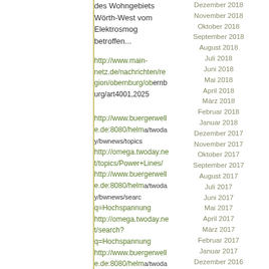des Wohngebiets Wörth-West vom Elektrosmog betroffen...
http://www.main-netz.de/nachrichten/region/obernburg/obernburg/art4001,2025
http://www.buergerwelle.de:8080/helma/twoday/bwnews/topics
http://omega.twoday.net/topics/Power+Lines/
http://www.buergerwelle.de:8080/helma/twoday/bwnews/search q=Hochspannung
http://omega.twoday.net/search?q=Hochspannung
http://www.buergerwelle.de:8080/helma/twoday/bwnews/search q=Freileitung
http://omega.twoday.net/search?q=Freileitung
http://www.buergerwelle.de:8080/helma/twoday/bwnews/search q=Elektrosmog
http://omega.twoday.net/search?q=Elektrosmog
Starmail - 2. Feb, 23:14
Mobile users
Dezember 2018
November 2018
Oktober 2018
September 2018
August 2018
Juli 2018
Juni 2018
Mai 2018
April 2018
März 2018
Februar 2018
Januar 2018
Dezember 2017
November 2017
Oktober 2017
September 2017
August 2017
Juli 2017
Juni 2017
Mai 2017
April 2017
März 2017
Februar 2017
Januar 2017
Dezember 2016
November 2016
Oktober 2016
September 2016
August 2016
Juli 2016
Juni 2016
Mai 2016
April 2016
März 2016
Februar 2016
Januar 2016
Dezember 2015
November 2015